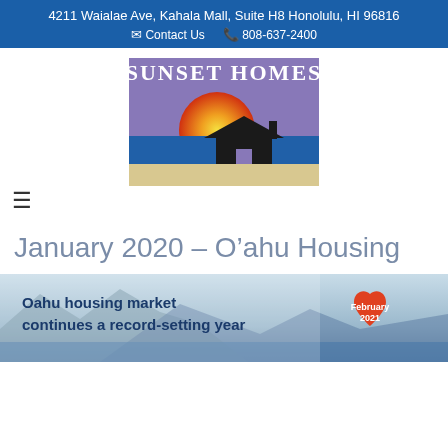4211 Waialae Ave, Kahala Mall, Suite H8 Honolulu, HI 96816 | Contact Us | 808-637-2400
[Figure (logo): Sunset Homes logo: sunset over ocean with house silhouette, purple sky, orange/yellow sun, blue water, sandy beach]
≡
January 2020 – O’ahu Housing
[Figure (infographic): Banner image: Oahu housing market continues a record-setting year, with February 2021 heart badge, mountain/ocean background]